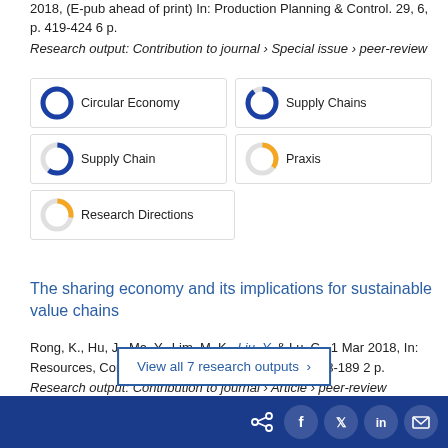2018, (E-pub ahead of print) In: Production Planning & Control. 29, 6, p. 419-424 6 p.
Research output: Contribution to journal › Special issue › peer-review
[Figure (infographic): Five keyword badges with donut chart icons showing percentages: Circular Economy 100%, Supply Chains 90%, Supply Chain 60%, Praxis 35%, Research Directions 28%]
The sharing economy and its implications for sustainable value chains
Rong, K., Hu, J., Ma, Y., Lim, M. K., Liu, Y. & Lu, C., 1 Mar 2018, In: Resources, Conservation and Recycling. 130, p. 188-189 2 p.
Research output: Contribution to journal › Article › peer-review
View all 7 research outputs ›